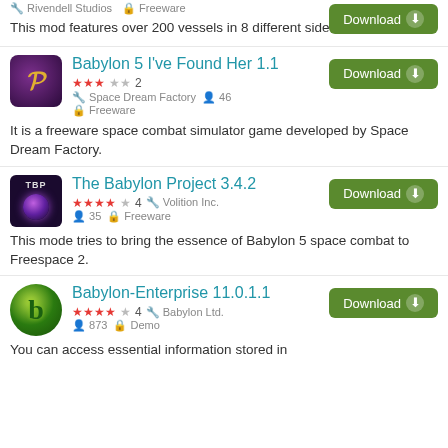Rivendell Studios   Freeware
This mod features over 200 vessels in 8 different sides.
Babylon 5 I've Found Her 1.1
★★★☆☆ 2   Space Dream Factory   46   Freeware
It is a freeware space combat simulator game developed by Space Dream Factory.
The Babylon Project 3.4.2
★★★★☆ 4   Volition Inc.   35   Freeware
This mode tries to bring the essence of Babylon 5 space combat to Freespace 2.
Babylon-Enterprise 11.0.1.1
★★★★☆ 4   Babylon Ltd.   873   Demo
You can access essential information stored in